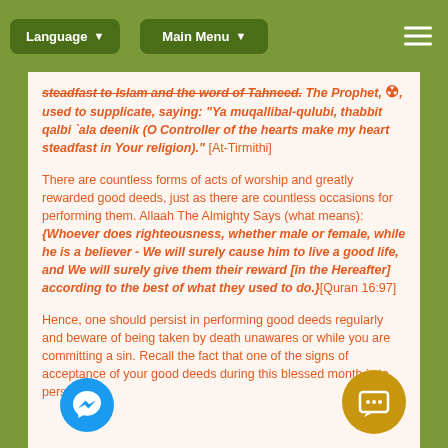Language ▾   Main Menu ▾   ≡
steadfast to Islam and the word of Tahneed. The Prophet, ﷺ, used to supplicate, saying: "Ya muqallibal-qulubi, thabbit qalbi `ala deenik (O Controller of the hearts make my heart steadfast in Your religion)." [At-Tirmithi]
There are countless forms of acts of worship and greatly rewarded good deeds, just as there are countless occasions for performing them. Allaah The Almighty Says (what means): {Whoever does righteousness, whether male or female, while he is a believer - We will surely cause him to live a good life, and We will surely give them their reward [in the Hereafter] according to the best of what they used to do.}[Quran 16:97]
Hence, one should persist in performing good deeds regularly and beware of being taken by death unawares or while you are committing a sin. Recall the fact that one of the signs of acceptance of your good deeds during this blessed month is to persist in